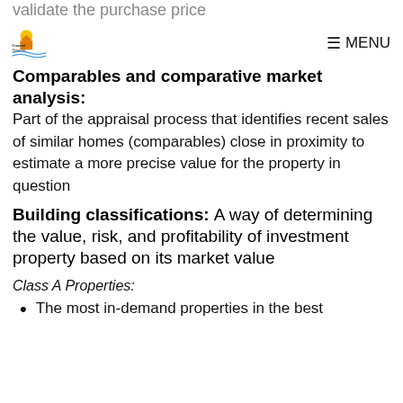validate the purchase price
Coastal Group Inc. logo | MENU
Comparables and comparative market analysis:
Part of the appraisal process that identifies recent sales of similar homes (comparables) close in proximity to estimate a more precise value for the property in question
Building classifications:
A way of determining the value, risk, and profitability of investment property based on its market value
Class A Properties:
The most in-demand properties in the best